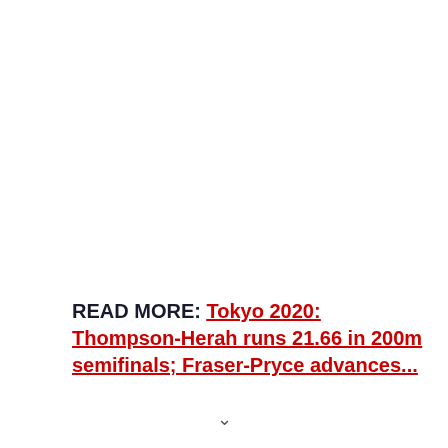READ MORE: Tokyo 2020: Thompson-Herah runs 21.66 in 200m semifinals; Fraser-Pryce advances...